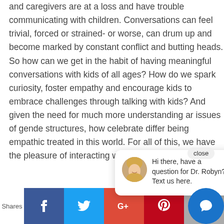and caregivers are at a loss and have trouble communicating with children. Conversations can feel trivial, forced or strained- or worse, can drum up and become marked by constant conflict and butting heads. So how can we get in the habit of having meaningful conversations with kids of all ages? How do we spark curiosity, foster empathy and encourage kids to embrace challenges through talking with kids? And given the need for much more understanding ar issues of gende structures, how celebrate differ being empathic treated in this world. For all of this, we have the pleasure of interacting with Rebecca Rolland today
[Figure (screenshot): Chat popup with close button. Avatar of a blonde woman smiling. Text: 'Hi there, have a question for Dr. Robyn? Text us here.']
[Figure (screenshot): Social sharing bar at bottom: Shares label, Facebook (blue), Twitter (light blue), Google+ (red), Pinterest (dark red), Email (grey), and a circular chat/SMS button (blue) on the right.]